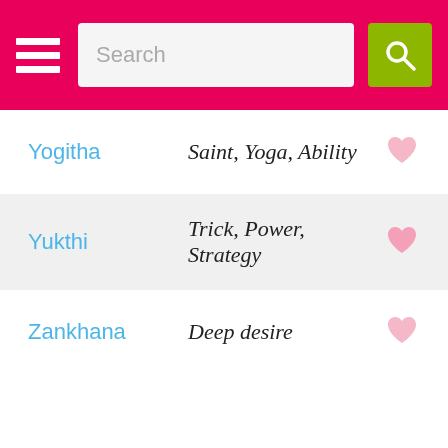[Figure (screenshot): Mobile app header with hamburger menu icon, search bar, and green search button on pink background]
Yogitha — Saint, Yoga, Ability
Yukthi — Trick, Power, Strategy
Zankhana — Deep desire